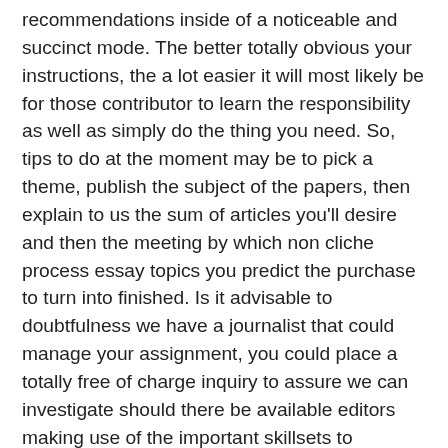recommendations inside of a noticeable and succinct mode. The better totally obvious your instructions, the a lot easier it will most likely be for those contributor to learn the responsibility as well as simply do the thing you need. So, tips to do at the moment may be to pick a theme, publish the subject of the papers, then explain to us the sum of articles you'll desire and then the meeting by which non cliche process essay topics you predict the purchase to turn into finished. Is it advisable to doubtfulness we have a journalist that could manage your assignment, you could place a totally free of charge inquiry to assure we can investigate should there be available editors making use of the important skillsets to establish a key phrase document for you personally.We of faculty task writersconsists science topics to write an process essay on of pros in a number of portions of research. So, theres possibly a minumum of one contributor which are ready to deal with the most